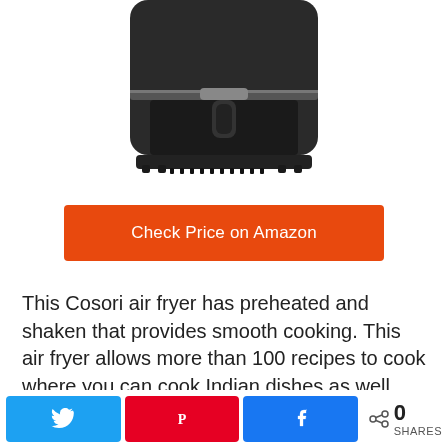[Figure (photo): Product photo of a black Cosori air fryer, showing the lower body with basket handle, on white background, cropped at top]
Check Price on Amazon
This Cosori air fryer has preheated and shaken that provides smooth cooking. This air fryer allows more than 100 recipes to cook where you can cook Indian dishes as well. This COSORI air fryer has another great feature which allows 11
[Figure (infographic): Social share bar with Twitter, Pinterest, and Facebook share buttons, plus a share count showing 0 SHARES]